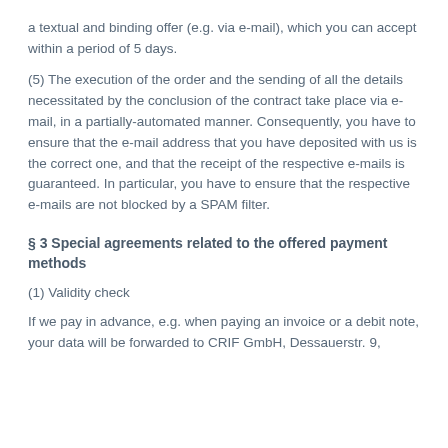a textual and binding offer (e.g. via e-mail), which you can accept within a period of 5 days.
(5) The execution of the order and the sending of all the details necessitated by the conclusion of the contract take place via e-mail, in a partially-automated manner. Consequently, you have to ensure that the e-mail address that you have deposited with us is the correct one, and that the receipt of the respective e-mails is guaranteed. In particular, you have to ensure that the respective e-mails are not blocked by a SPAM filter.
§ 3 Special agreements related to the offered payment methods
(1) Validity check
If we pay in advance, e.g. when paying an invoice or a debit note, your data will be forwarded to CRIF GmbH, Dessauerstr. 9,